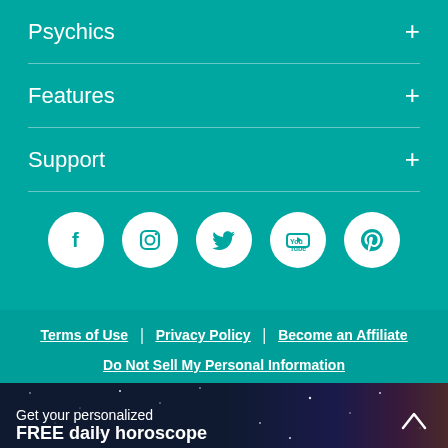Psychics +
Features +
Support +
[Figure (infographic): Row of 5 social media icons (Facebook, Instagram, Twitter, YouTube, Pinterest) in white circles on teal background]
View Full Site
Terms of Use | Privacy Policy | Become an Affiliate
Do Not Sell My Personal Information
Get your personalized FREE daily horoscope